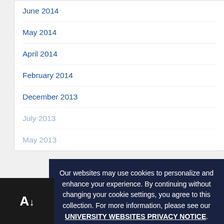June 2014
May 2014
April 2014
February 2014
December 2013
July 2013
May 2013
Meta
Log in
Our websites may use cookies to personalize and enhance your experience. By continuing without changing your cookie settings, you agree to this collection. For more information, please see our UNIVERSITY WEBSITES PRIVACY NOTICE.
OK ✓
[Figure (logo): A logo with letter A and a downward arrow icon on black background]